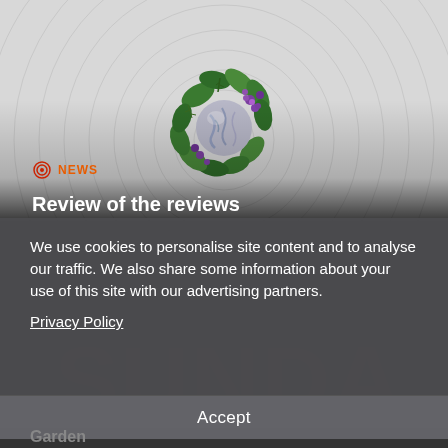[Figure (photo): A food photograph showing a decorative dish with a pale blue-marbled sphere/ball garnished with green herbs and purple flowers, presented on a white circular plate with concentric ring patterns, viewed from above with dark gradient overlay at bottom.]
NEWS
Review of the reviews
We use cookies to personalise site content and to analyse our traffic. We also share some information about your use of this site with our advertising partners.
Privacy Policy
Accept
Garden